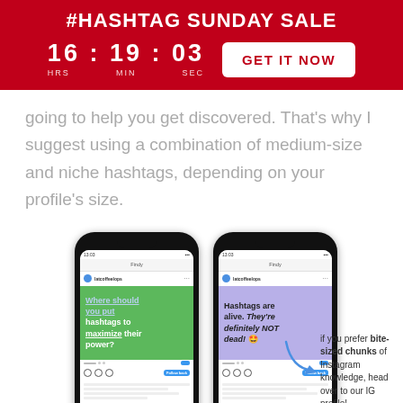#HASHTAG SUNDAY SALE
16 : 19 : 03  HRS MIN SEC
GET IT NOW
going to help you get discovered. That's why I suggest using a combination of medium-size and niche hashtags, depending on your profile's size.
[Figure (screenshot): Two smartphone screenshots showing Instagram posts about hashtags. Left phone shows a green-background post with text 'Where should you put hashtags to maximize their power?'. Right phone shows a purple-background post with text 'Hashtags are alive. They're definitely NOT dead! emoji'. A blue arrow points right with a note: 'If you prefer bite-sized chunks of Instagram knowledge, head over to our IG profile!']